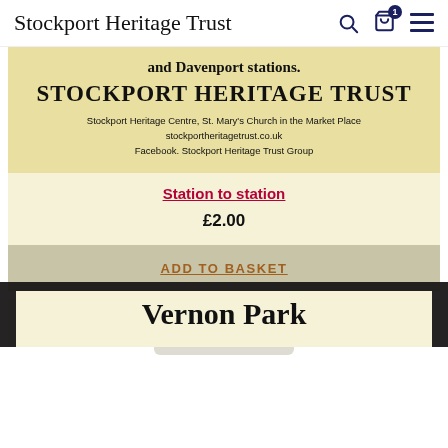Stockport Heritage Trust
[Figure (illustration): Scanned historical document showing 'and Davenport stations.' in bold, 'STOCKPORT HERITAGE TRUST' in large bold letters, and address/website details: Stockport Heritage Centre, St. Mary's Church in the Market Place, stockportheritagetrust.co.uk, Facebook. Stockport Heritage Trust Group]
Station to station
£2.00
ADD TO BASKET
This site uses cookies please read our privacy policy to continue
Accept
Vernon Park